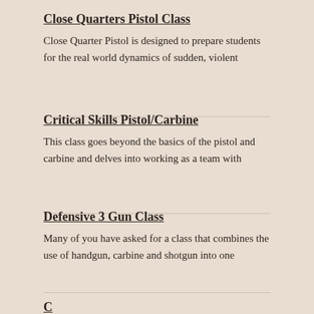Close Quarters Pistol Class
Close Quarter Pistol is designed to prepare students for the real world dynamics of sudden, violent
Critical Skills Pistol/Carbine
This class goes beyond the basics of the pistol and carbine and delves into working as a team with
Defensive 3 Gun Class
Many of you have asked for a class that combines the use of handgun, carbine and shotgun into one
C...